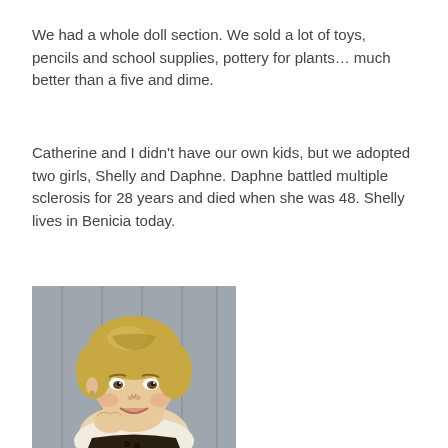We had a whole doll section. We sold a lot of toys, pencils and school supplies, pottery for plants… much better than a five and dime.
Catherine and I didn't have our own kids, but we adopted two girls, Shelly and Daphne. Daphne battled multiple sclerosis for 28 years and died when she was 48. Shelly lives in Benicia today.
[Figure (photo): Vintage photograph of a young blonde girl smiling, resting her chin near her hand, wearing a light-colored top with dark trim, photographed against a wooden background.]